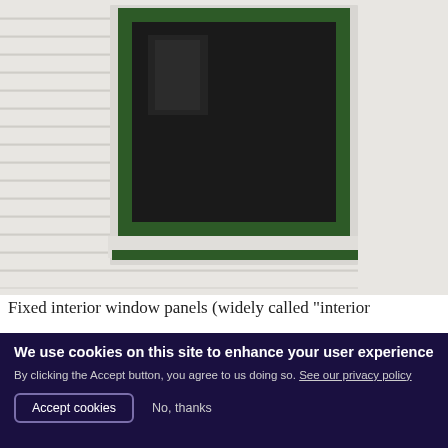[Figure (photo): Close-up photograph of a house exterior showing a window with a dark green frame set against white vinyl horizontal siding. The window pane is dark/reflective. The green window trim is visible on all sides.]
Fixed interior window panels (widely called "interior
We use cookies on this site to enhance your user experience
By clicking the Accept button, you agree to us doing so. See our privacy policy
Accept cookies   No, thanks